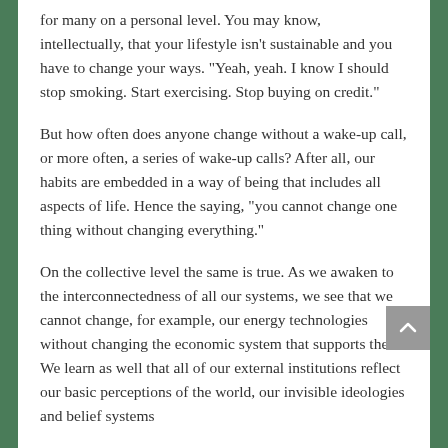for many on a personal level. You may know, intellectually, that your lifestyle isn't sustainable and you have to change your ways. "Yeah, yeah. I know I should stop smoking. Start exercising. Stop buying on credit."
But how often does anyone change without a wake-up call, or more often, a series of wake-up calls? After all, our habits are embedded in a way of being that includes all aspects of life. Hence the saying, "you cannot change one thing without changing everything."
On the collective level the same is true. As we awaken to the interconnectedness of all our systems, we see that we cannot change, for example, our energy technologies without changing the economic system that supports them. We learn as well that all of our external institutions reflect our basic perceptions of the world, our invisible ideologies and belief systems